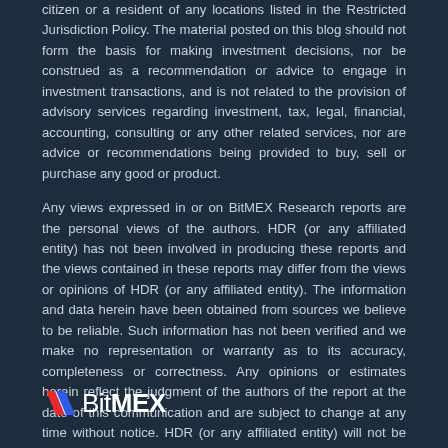citizen or a resident of any locations listed in the Restricted Jurisdiction Policy. The material posted on this blog should not form the basis for making investment decisions, nor be construed as a recommendation or advice to engage in investment transactions, and is not related to the provision of advisory services regarding investment, tax, legal, financial, accounting, consulting or any other related services, nor are advice or recommendations being provided to buy, sell or purchase any good or product.
Any views expressed in or on BitMEX Research reports are the personal views of the authors. HDR (or any affiliated entity) has not been involved in producing these reports and the views contained in these reports may differ from the views or opinions of HDR (or any affiliated entity). The information and data herein have been obtained from sources we believe to be reliable. Such information has not been verified and we make no representation or warranty as to its accuracy, completeness or correctness. Any opinions or estimates herein reflect the judgment of the authors of the report at the date of this communication and are subject to change at any time without notice. HDR (or any affiliated entity) will not be liable whatsoever for any direct or consequential loss arising from the use of (including any reliance on) this blog or its contents. The content of this blog is protected by copyright.
[Figure (logo): BitMEX logo with red and blue slash icon followed by BitMEX text in white]